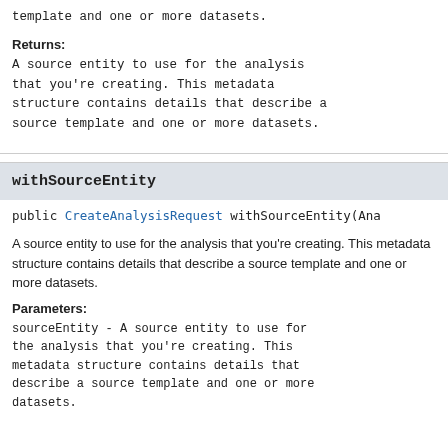template and one or more datasets.
Returns:
A source entity to use for the analysis that you're creating. This metadata structure contains details that describe a source template and one or more datasets.
withSourceEntity
public CreateAnalysisRequest withSourceEntity(Ana
A source entity to use for the analysis that you're creating. This metadata structure contains details that describe a source template and one or more datasets.
Parameters:
sourceEntity - A source entity to use for the analysis that you're creating. This metadata structure contains details that describe a source template and one or more datasets.